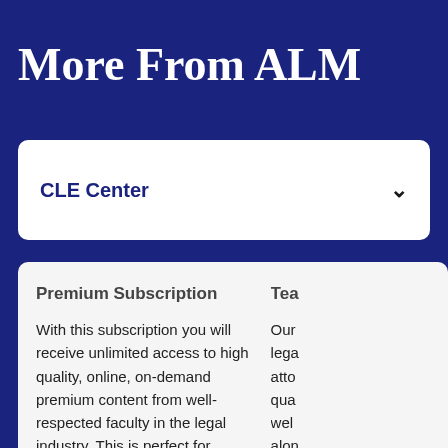More From ALM
CLE Center
Premium Subscription
With this subscription you will receive unlimited access to high quality, online, on-demand premium content from well-respected faculty in the legal industry. This is perfect for attorneys licensed in multiple jurisdictions or for attorneys that have fulfilled their CLE requirement but need to access resourceful information for their practice areas.